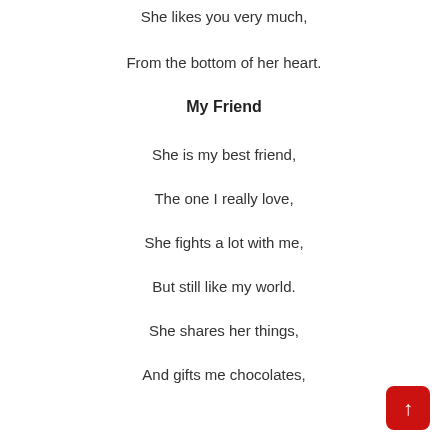She likes you very much,
From the bottom of her heart.
My Friend
She is my best friend,
The one I really love,
She fights a lot with me,
But still like my world.
She shares her things,
And gifts me chocolates,